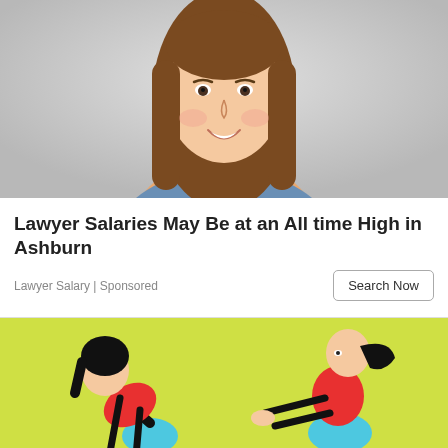[Figure (photo): Smiling young woman with long brown hair wearing a denim shirt, photographed from shoulders up against a light gray background.]
Lawyer Salaries May Be at an All time High in Ashburn
Lawyer Salary | Sponsored
[Figure (illustration): Cartoon illustration on a yellow-green background showing two women exercising. Left figure bends forward holding small red dumbbells near ankles, wearing red sports top and blue shorts. Right figure does a squat pose with arms extended, wearing red sports top and blue shorts.]